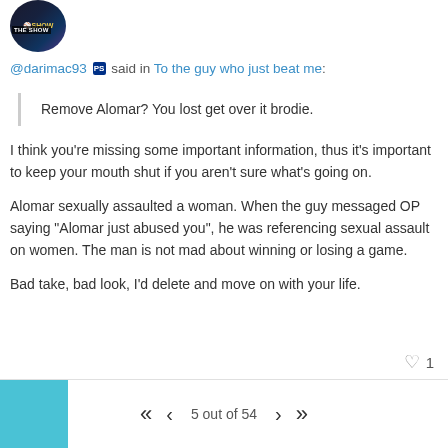[Figure (photo): User avatar showing The Show game logo/image]
@darimac93 [PS icon] said in To the guy who just beat me:
Remove Alomar? You lost get over it brodie.
I think you're missing some important information, thus it's important to keep your mouth shut if you aren't sure what's going on.
Alomar sexually assaulted a woman. When the guy messaged OP saying "Alomar just abused you", he was referencing sexual assault on women. The man is not mad about winning or losing a game.
Bad take, bad look, I'd delete and move on with your life.
5 out of 54